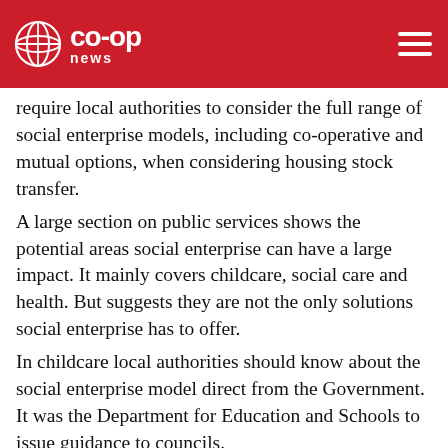co-op news
require local authorities to consider the full range of social enterprise models, including co-operative and mutual options, when considering housing stock transfer.
A large section on public services shows the potential areas social enterprise can have a large impact. It mainly covers childcare, social care and health. But suggests they are not the only solutions social enterprise has to offer.
In childcare local authorities should know about the social enterprise model direct from the Government. It was the Department for Education and Schools to issue guidance to councils.
Some social enterprises also help with health. Examples quoted included the South East London